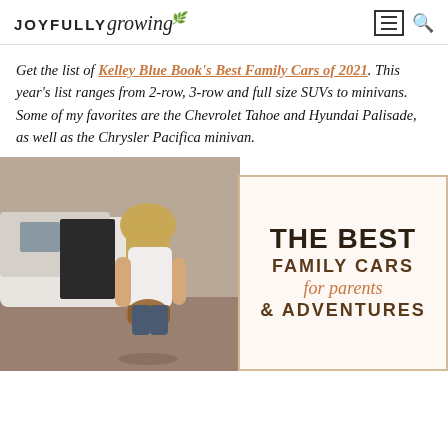JOYFULLY growing
Get the list of Kelley Blue Book's Best Family Cars of 2021. This year's list ranges from 2-row, 3-row and full size SUVs to minivans. Some of my favorites are the Chevrolet Tahoe and Hyundai Palisade, as well as the Chrysler Pacifica minivan.
[Figure (photo): A woman with long blonde hair wearing a white t-shirt, loading luggage into a large white SUV. Overlaid card on the right reads: THE BEST FAMILY CARS for parents & ADVENTURES]